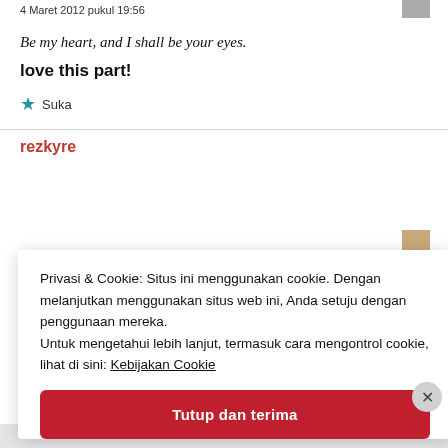4 Maret 2012 pukul 19:56
Be my heart, and I shall be your eyes.
love this part!
★ Suka
rezkyre
Privasi & Cookie: Situs ini menggunakan cookie. Dengan melanjutkan menggunakan situs web ini, Anda setuju dengan penggunaan mereka.
Untuk mengetahui lebih lanjut, termasuk cara mengontrol cookie, lihat di sini: Kebijakan Cookie
Tutup dan terima